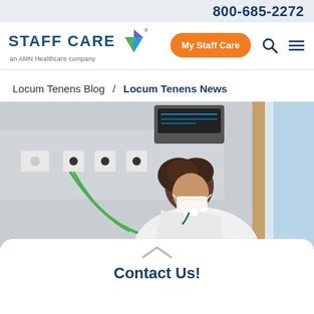800-685-2272
[Figure (logo): Staff Care logo with AMN Healthcare triangle icon and orange 'My Staff Care' button, search and menu icons]
Locum Tenens Blog / Locum Tenens News
[Figure (photo): Healthcare professional wearing white coat and mask leaning over medical equipment with green tubing and wall-mounted outlets in a hospital room]
Contact Us!